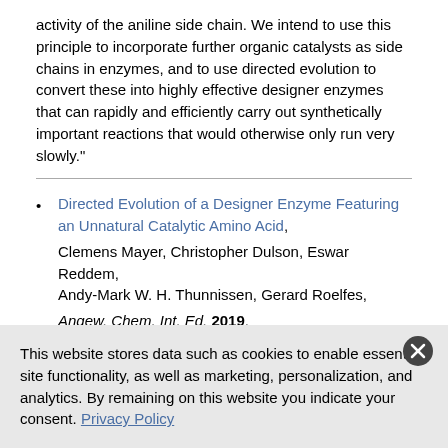activity of the aniline side chain. We intend to use this principle to incorporate further organic catalysts as side chains in enzymes, and to use directed evolution to convert these into highly effective designer enzymes that can rapidly and efficiently carry out synthetically important reactions that would otherwise only run very slowly."
Directed Evolution of a Designer Enzyme Featuring an Unnatural Catalytic Amino Acid, Clemens Mayer, Christopher Dulson, Eswar Reddem, Andy-Mark W. H. Thunnissen, Gerard Roelfes, Angew. Chem. Int. Ed. 2019. https://doi.org/10.1002/anie.201813499
This website stores data such as cookies to enable essential site functionality, as well as marketing, personalization, and analytics. By remaining on this website you indicate your consent. Privacy Policy